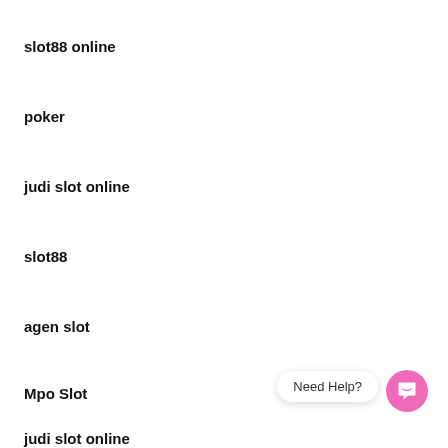slot88 online
poker
judi slot online
slot88
agen slot
Mpo Slot
judi slot online
[Figure (other): Need Help? chat support button with pink circular icon]